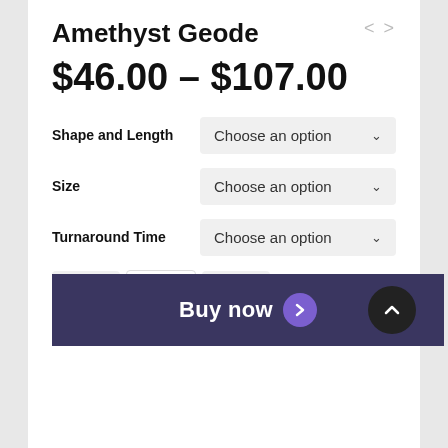Amethyst Geode
$46.00 – $107.00
Shape and Length  Choose an option
Size  Choose an option
Turnaround Time  Choose an option
- 1 +
Buy now